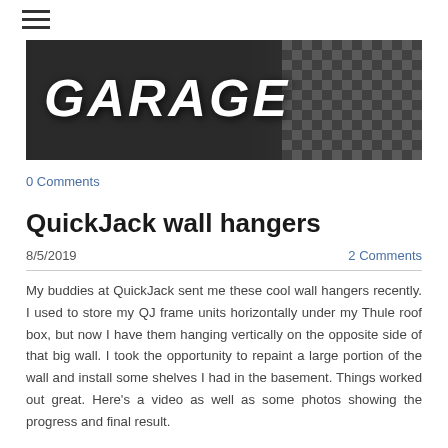[Figure (photo): Banner image showing the word GARAGE in large bold italic white letters against a dark background with checkered floor pattern visible on the right side]
0 Comments
QuickJack wall hangers
8/5/2019   2 Comments
My buddies at QuickJack sent me these cool wall hangers recently. I used to store my QJ frame units horizontally under my Thule roof box, but now I have them hanging vertically on the opposite side of that big wall. I took the opportunity to repaint a large portion of the wall and install some shelves I had in the basement. Things worked out great. Here's a video as well as some photos showing the progress and final result.